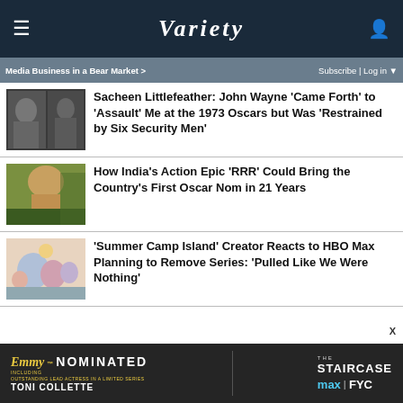VARIETY
Media Business in a Bear Market >     Subscribe | Log in
Sacheen Littlefeather: John Wayne 'Came Forth' to 'Assault' Me at the 1973 Oscars but Was 'Restrained by Six Security Men'
How India's Action Epic 'RRR' Could Bring the Country's First Oscar Nom in 21 Years
'Summer Camp Island' Creator Reacts to HBO Max Planning to Remove Series: 'Pulled Like We Were Nothing'
[Figure (other): Ad banner: Emmy Nominated - The Staircase - Max FYC - Toni Collette]